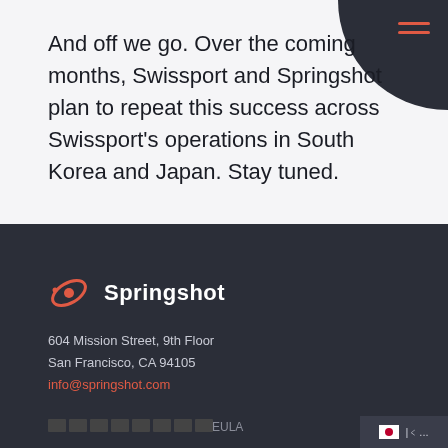And off we go. Over the coming months, Swissport and Springshot plan to repeat this success across Swissport's operations in South Korea and Japan. Stay tuned.
[Figure (logo): Springshot logo with coral/red orbit icon and white Springshot wordmark]
604 Mission Street, 9th Floor
San Francisco, CA 94105
info@springshot.com
EULA